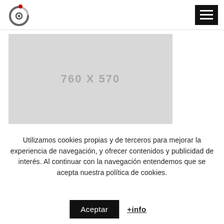Logo and navigation hamburger menu
[Figure (illustration): Placeholder image box showing '760 X 570' text in gray on light gray background]
Utilizamos cookies propias y de terceros para mejorar la experiencia de navegación, y ofrecer contenidos y publicidad de interés. Al continuar con la navegación entendemos que se acepta nuestra política de cookies.
Aceptar +info